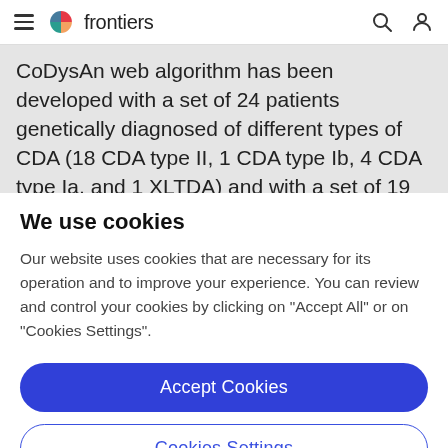frontiers
CoDysAn web algorithm has been developed with a set of 24 patients genetically diagnosed of different types of CDA (18 CDA type II, 1 CDA type Ib, 4 CDA type Ia, and 1 XLTDA) and with a set of 19 additional patients genetically diagnosed from CDA hereditary, including...
We use cookies
Our website uses cookies that are necessary for its operation and to improve your experience. You can review and control your cookies by clicking on "Accept All" or on "Cookies Settings".
Accept Cookies
Cookies Settings